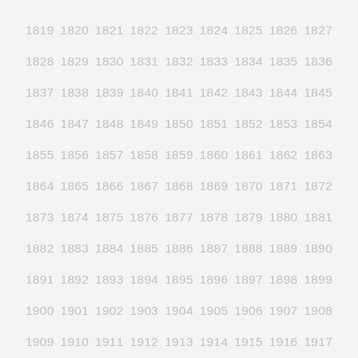1819 1820 1821 1822 1823 1824 1825 1826 1827 1828 1829 1830 1831 1832 1833 1834 1835 1836 1837 1838 1839 1840 1841 1842 1843 1844 1845 1846 1847 1848 1849 1850 1851 1852 1853 1854 1855 1856 1857 1858 1859 1860 1861 1862 1863 1864 1865 1866 1867 1868 1869 1870 1871 1872 1873 1874 1875 1876 1877 1878 1879 1880 1881 1882 1883 1884 1885 1886 1887 1888 1889 1890 1891 1892 1893 1894 1895 1896 1897 1898 1899 1900 1901 1902 1903 1904 1905 1906 1907 1908 1909 1910 1911 1912 1913 1914 1915 1916 1917 1918 1919 1920 1921 1922 1923 1924 1925 1926 1927 1928 1929 1930 1931 1932 1933 1934 1935